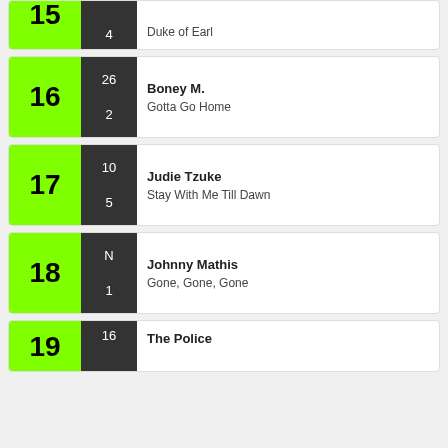15 | 4 | Duke of Earl
16 | 26 | 2 | Boney M. | Gotta Go Home
17 | 10 | 5 | Judie Tzuke | Stay With Me Till Dawn
18 | N | 1 | Johnny Mathis | Gone, Gone, Gone
19 | 16 | 7 | The Police | Can't Stand Losing You